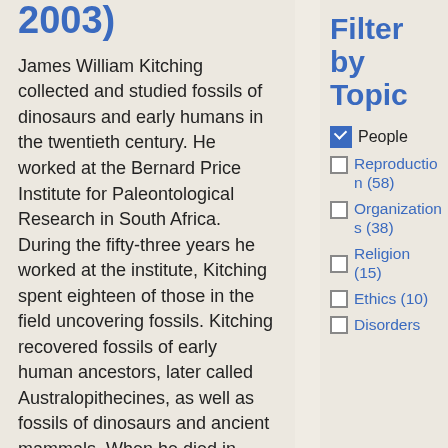2003)
James William Kitching collected and studied fossils of dinosaurs and early humans in the twentieth century. He worked at the Bernard Price Institute for Paleontological Research in South Africa. During the fifty-three years he worked at the institute, Kitching spent eighteen of those in the field uncovering fossils. Kitching recovered fossils of early human ancestors, later called Australopithecines, as well as fossils of dinosaurs and ancient mammals. When he died in 2003, the
Filter by Topic
People
Reproduction (58)
Organizations (38)
Religion (15)
Ethics (10)
Disorders